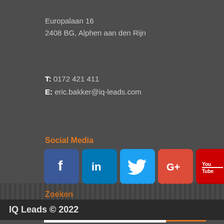Europalaan 16
2408 BG, Alphen aan den Rijn
T: 0172 421 411
E: eric.bakker@iq-leads.com
Social Media
[Figure (illustration): Social media icons: Facebook (blue), LinkedIn (blue), Twitter (light blue), Google+ (red-orange), YouTube (red)]
Zoeken
[Figure (other): Search bar with text input and orange Search button]
IQ Leads © 2022